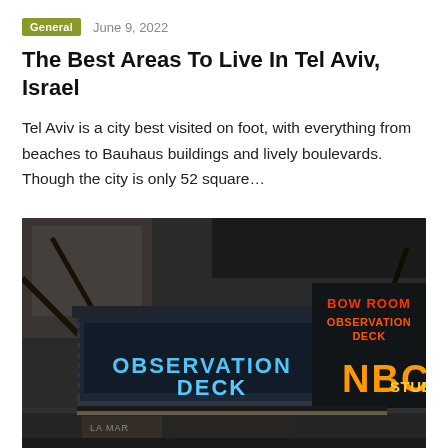General  June 9, 2022
The Best Areas To Live In Tel Aviv, Israel
Tel Aviv is a city best visited on foot, with everything from beaches to Bauhaus buildings and lively boulevards. Though the city is only 52 square…
[Figure (photo): Nighttime photo of an illuminated marquee sign showing 'OBSERVATION DECK' in blue neon letters on the left, and 'BOW ROOM OBSERVATION DECK' in red/orange neon on the upper right, with 'NBC STUDIO' in large orange/yellow neon letters below on the right side.]